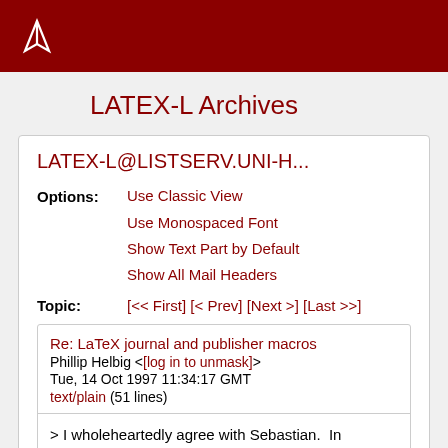LATEX-L Archives
LATEX-L Archives
LATEX-L@LISTSERV.UNI-H...
Options: Use Classic View
Use Monospaced Font
Show Text Part by Default
Show All Mail Headers
Topic: [<< First] [< Prev] [Next >] [Last >>]
Re: LaTeX journal and publisher macros
Phillip Helbig <[log in to unmask]>
Tue, 14 Oct 1997 11:34:17 GMT
text/plain (51 lines)
> I wholeheartedly agree with Sebastian.  In addition, I feel that the